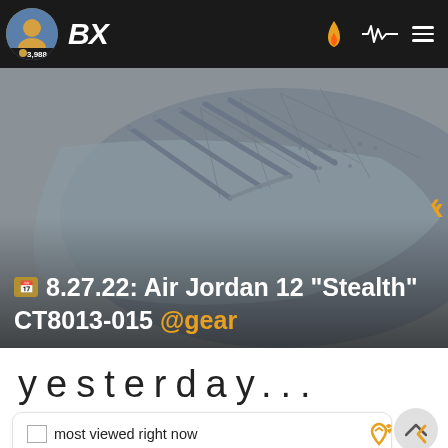BX  3,988
[Figure (photo): Close-up photo of a grey Air Jordan 12 Stealth sneaker showing laces and leather texture, overlaid with text: 8.27.22: Air Jordan 12 "Stealth" CT8013-015 @gear]
yesterday...
most viewed right now